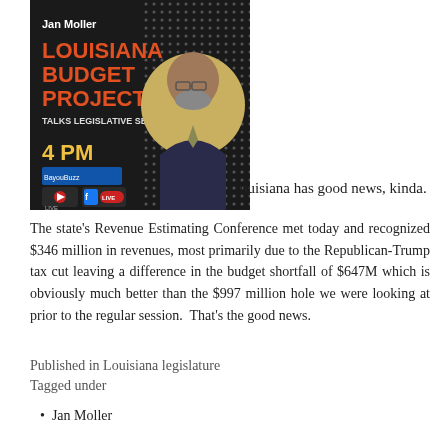[Figure (photo): Promotional graphic for Jan Moller, Louisiana Budget Project, Talks Legislative Session – 4 PM, with BayouBuzz and Facebook Live logos, alongside a photo of a bearded man with glasses.]
Louisiana has good news, kinda.
The state's Revenue Estimating Conference met today and recognized $346 million in revenues, most primarily due to the Republican-Trump tax cut leaving a difference in the budget shortfall of $647M which is obviously much better than the $997 million hole we were looking at prior to the regular session.  That's the good news.
Published in Louisiana legislature
Tagged under
Jan Moller